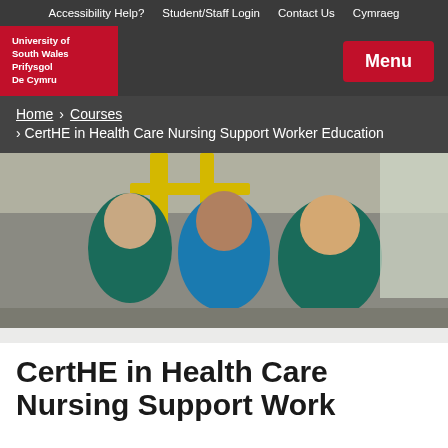Accessibility Help?  Student/Staff Login  Contact Us  Cymraeg
[Figure (logo): University of South Wales / Prifysgol De Cymru logo in white text on red background, with Menu button]
Home > Courses > CertHE in Health Care Nursing Support Worker Education
[Figure (photo): Three smiling healthcare workers in scrubs standing together in a hospital/clinic corridor]
CertHE in Health Care Nursing Support Worker Education